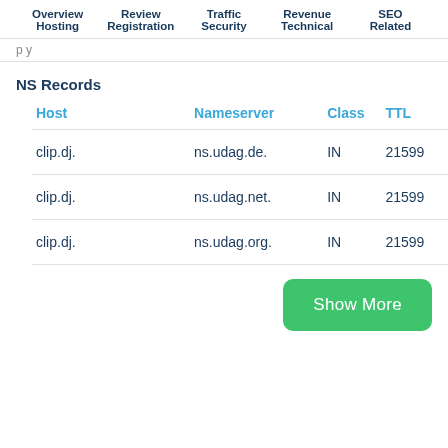Overview | Review | Traffic | Revenue | SEO | Hosting | Registration | Security | Technical | Related
p y
NS Records
| Host | Nameserver | Class | TTL |
| --- | --- | --- | --- |
| clip.dj. | ns.udag.de. | IN | 21599 |
| clip.dj. | ns.udag.net. | IN | 21599 |
| clip.dj. | ns.udag.org. | IN | 21599 |
Show More